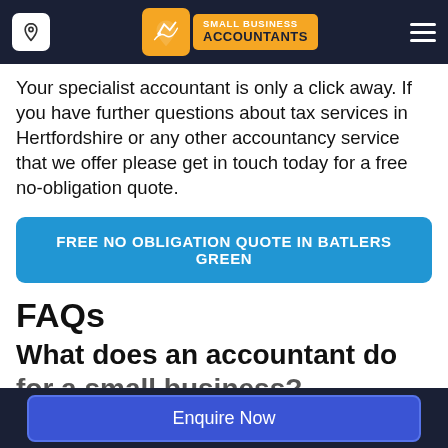Small Business Accountants
Your specialist accountant is only a click away. If you have further questions about tax services in Hertfordshire or any other accountancy service that we offer please get in touch today for a free no-obligation quote.
FREE NO OBLIGATION QUOTE IN BATLERS GREEN
FAQs
What does an accountant do for a small business?
Enquire Now